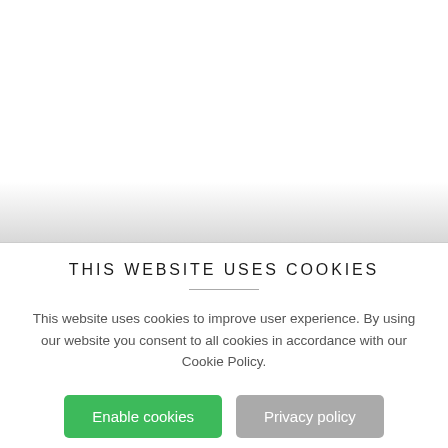[Figure (screenshot): Blurred/faded white and light grey background area representing the website content behind a cookie consent overlay, with a gradient fade to grey at the bottom.]
THIS WEBSITE USES COOKIES
This website uses cookies to improve user experience. By using our website you consent to all cookies in accordance with our Cookie Policy.
Enable cookies
Privacy policy